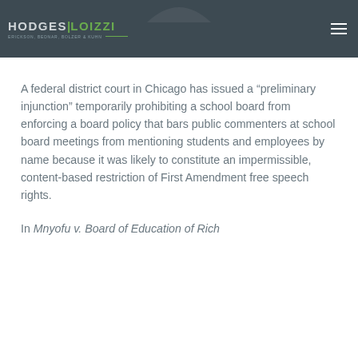HODGES|LOIZZI — Erickson, Bednar, Bolzer & Kuhn
A federal district court in Chicago has issued a “preliminary injunction” temporarily prohibiting a school board from enforcing a board policy that bars public commenters at school board meetings from mentioning students and employees by name because it was likely to constitute an impermissible, content-based restriction of First Amendment free speech rights.
In Mnyofu v. Board of Education of Rich